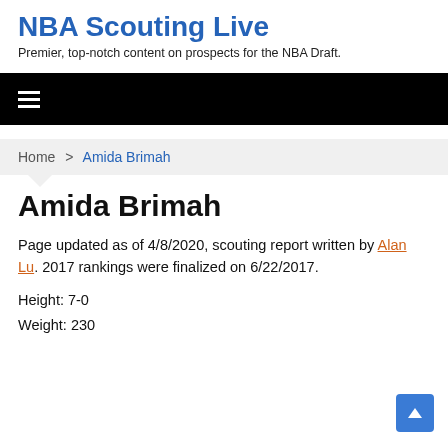NBA Scouting Live
Premier, top-notch content on prospects for the NBA Draft.
[Figure (other): Black navigation bar with hamburger menu icon (three horizontal white lines)]
Home > Amida Brimah
Amida Brimah
Page updated as of 4/8/2020, scouting report written by Alan Lu. 2017 rankings were finalized on 6/22/2017.
Height: 7-0
Weight: 230